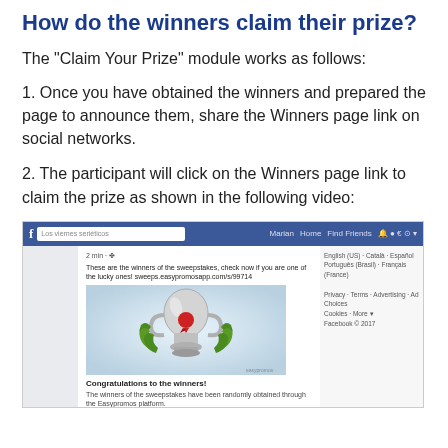How do the winners claim their prize?
The "Claim Your Prize" module works as follows:
1. Once you have obtained the winners and prepared the page to announce them, share the Winners page link on social networks.
2. The participant will click on the Winners page link to claim the prize as shown in the following video:
[Figure (screenshot): Screenshot of a Facebook page showing a sweepstakes winner announcement post with a trophy image and 'Congratulations to the winners!' message.]